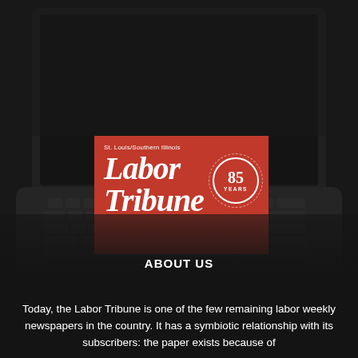[Figure (photo): Dark background photo showing a laptop keyboard from above, dimly lit, forming the background of the page.]
[Figure (logo): St. Louis/Southern Illinois Labor Tribune logo on red background with '85 YEARS' badge. White serif italic text reading 'Labor Tribune'.]
ABOUT US
Today, the Labor Tribune is one of the few remaining labor weekly newspapers in the country. It has a symbiotic relationship with its subscribers: the paper exists because of